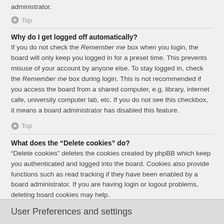administrator.
Top
Why do I get logged off automatically?
If you do not check the Remember me box when you login, the board will only keep you logged in for a preset time. This prevents misuse of your account by anyone else. To stay logged in, check the Remember me box during login. This is not recommended if you access the board from a shared computer, e.g. library, internet cafe, university computer lab, etc. If you do not see this checkbox, it means a board administrator has disabled this feature.
Top
What does the “Delete cookies” do?
“Delete cookies” deletes the cookies created by phpBB which keep you authenticated and logged into the board. Cookies also provide functions such as read tracking if they have been enabled by a board administrator. If you are having login or logout problems, deleting board cookies may help.
Top
User Preferences and settings